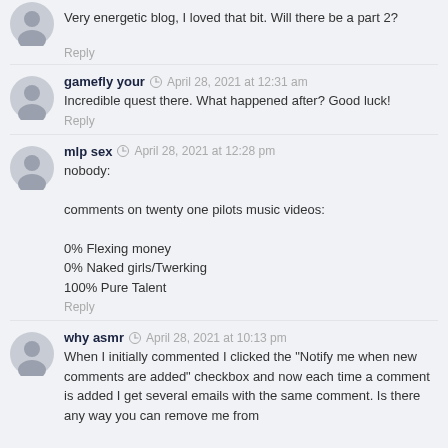Very energetic blog, I loved that bit. Will there be a part 2?
Reply
gamefly your  April 28, 2021 at 12:31 am
Incredible quest there. What happened after? Good luck!
Reply
mlp sex  April 28, 2021 at 12:28 pm
nobody:

comments on twenty one pilots music videos:

0% Flexing money
0% Naked girls/Twerking
100% Pure Talent
Reply
why asmr  April 28, 2021 at 10:13 pm
When I initially commented I clicked the "Notify me when new comments are added" checkbox and now each time a comment is added I get several emails with the same comment. Is there any way you can remove me from